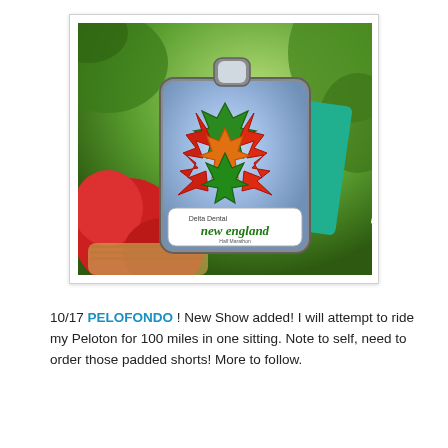[Figure (photo): A running race medal for the Delta Dental New England Half Marathon, featuring colorful enamel maple leaves in red, orange, and green on a silver medal body, resting in a basket of red apples with green foliage in the background. A teal Delta Dental ribbon/lanyard is visible on the right.]
10/17 PELOFONDO ! New Show added! I will attempt to ride my Peloton for 100 miles in one sitting. Note to self, need to order those padded shorts! More to follow.